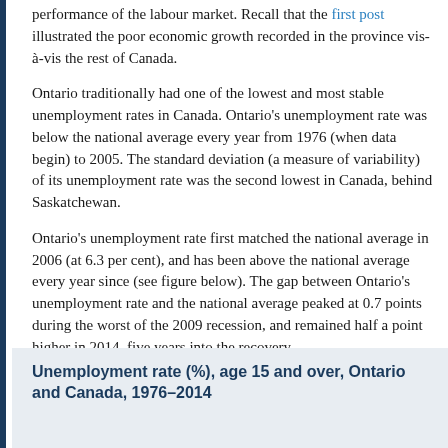performance of the labour market. Recall that the first post illustrated the poor economic growth recorded in the province vis-à-vis the rest of Canada.
Ontario traditionally had one of the lowest and most stable unemployment rates in Canada. Ontario's unemployment rate was below the national average every year from 1976 (when data begin) to 2005. The standard deviation (a measure of variability) of its unemployment rate was the second lowest in Canada, behind Saskatchewan.
Ontario's unemployment rate first matched the national average in 2006 (at 6.3 per cent), and has been above the national average every year since (see figure below). The gap between Ontario's unemployment rate and the national average peaked at 0.7 points during the worst of the 2009 recession, and remained half a point higher in 2014, five years into the recovery.
Unemployment rate (%), age 15 and over, Ontario and Canada, 1976–2014